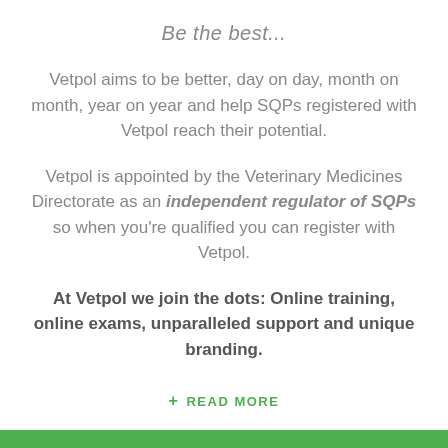Be the best...
Vetpol aims to be better, day on day, month on month, year on year and help SQPs registered with Vetpol reach their potential.
Vetpol is appointed by the Veterinary Medicines Directorate as an independent regulator of SQPs so when you're qualified you can register with Vetpol.
At Vetpol we join the dots: Online training, online exams, unparalleled support and unique branding.
+ READ MORE